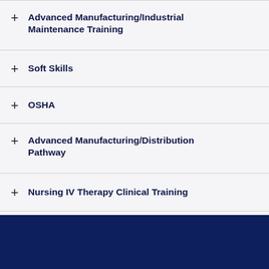+ Advanced Manufacturing/Industrial Maintenance Training
+ Soft Skills
+ OSHA
+ Advanced Manufacturing/Distribution Pathway
+ Nursing IV Therapy Clinical Training